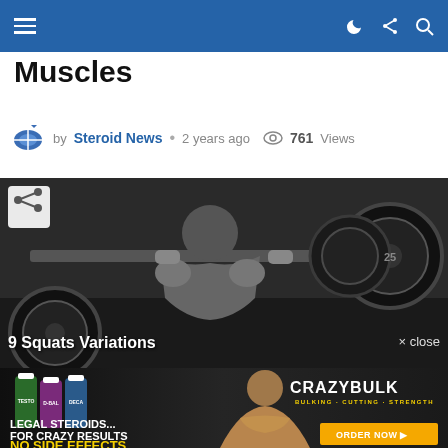Navigation bar with menu icon and icons for dark mode, share, and search
Muscles
by Steroid News • 2 years ago  761 Views
[Figure (photo): Black and white photo of a muscular person performing a barbell squat in a gym with heavy weights]
9 Squats Variations
[Figure (infographic): CrazyBulk advertisement banner showing muscular man with supplement bottles. Text: LEGAL STEROIDS... FOR CRAZY RESULTS / NO SIDE EFFECTS / ORDER NOW. Logo: CRAZYBULK BULKING · CUTTING · STRENGTH]